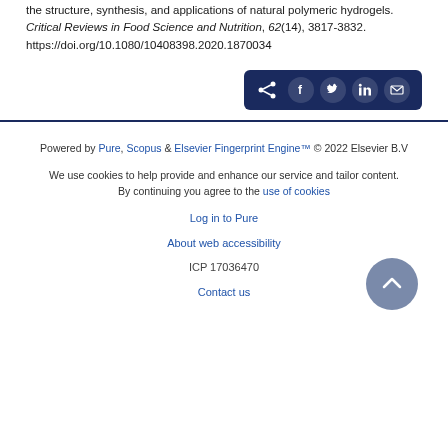the structure, synthesis, and applications of natural polymeric hydrogels. Critical Reviews in Food Science and Nutrition, 62(14), 3817-3832. https://doi.org/10.1080/10408398.2020.1870034
[Figure (other): Share bar with dark navy background containing share icon and social media buttons: Facebook, Twitter, LinkedIn, Email]
Powered by Pure, Scopus & Elsevier Fingerprint Engine™ © 2022 Elsevier B.V
We use cookies to help provide and enhance our service and tailor content. By continuing you agree to the use of cookies
Log in to Pure
About web accessibility
ICP 17036470
Contact us